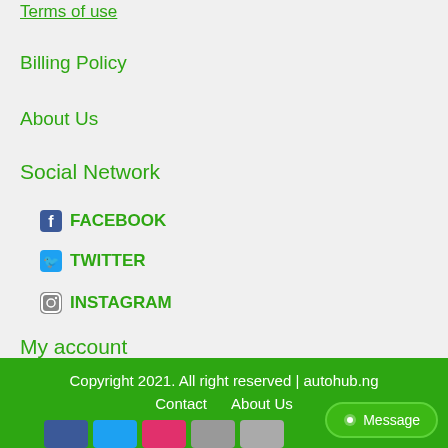Terms of use
Billing Policy
About Us
Social Network
FACEBOOK
TWITTER
INSTAGRAM
My account
Login
Register
Copyright 2021. All right reserved | autohub.ng
Contact   About Us